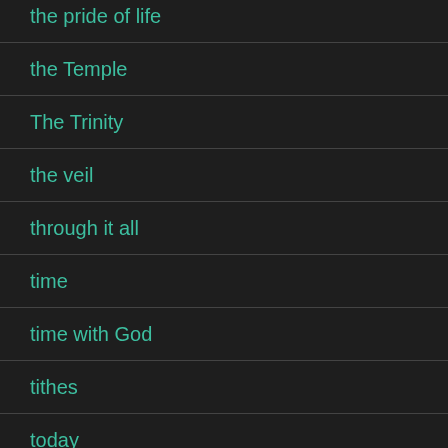the pride of life
the Temple
The Trinity
the veil
through it all
time
time with God
tithes
today